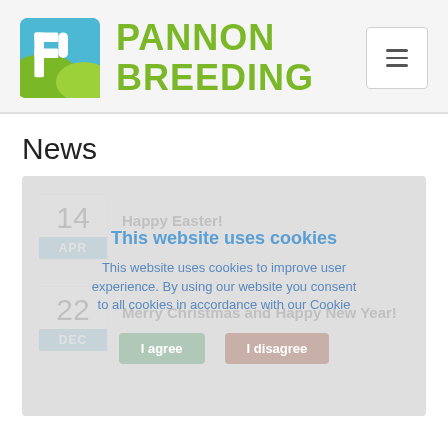[Figure (logo): Pannon Breeding logo with stylized P icon in blue/green colors and green text reading PANNON BREEDING]
News
This website uses cookies
This website uses cookies to improve user experience. By using our website you consent to all cookies in accordance with our Cookie
Happy Easter!
14 APR
Merry Christmas and Happy New Year!
22 DEC